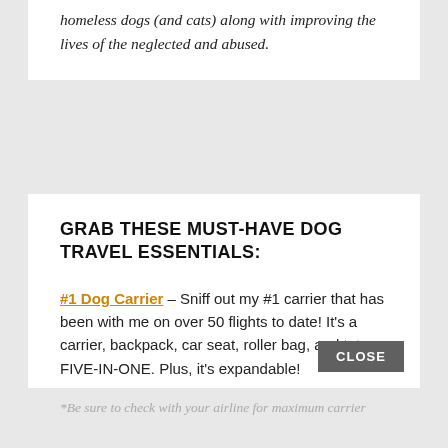homeless dogs (and cats) along with improving the lives of the neglected and abused.
GRAB THESE MUST-HAVE DOG TRAVEL ESSENTIALS:
#1 Dog Carrier – Sniff out my #1 carrier that has been with me on over 50 flights to date! It's a carrier, backpack, car seat, roller bag, and tote: FIVE-IN-ONE. Plus, it's expandable!
My #2 carrier is a soft carrier, and it's a sturdy 2-in-1 carrier/backpack!
*Be sure to check with your airline for maximum carrier